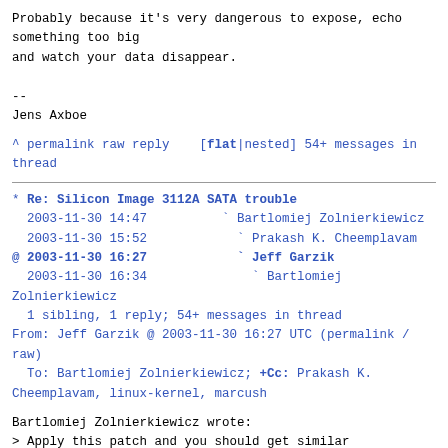Probably because it's very dangerous to expose, echo
something too big
and watch your data disappear.

--
Jens Axboe
^ permalink raw reply    [flat|nested] 54+ messages in thread
* Re: Silicon Image 3112A SATA trouble
  2003-11-30 14:47          ` Bartlomiej Zolnierkiewicz
  2003-11-30 15:52            ` Prakash K. Cheemplavam
@ 2003-11-30 16:27            ` Jeff Garzik
  2003-11-30 16:34              ` Bartlomiej Zolnierkiewicz
  1 sibling, 1 reply; 54+ messages in thread
From: Jeff Garzik @ 2003-11-30 16:27 UTC (permalink / raw)
  To: Bartlomiej Zolnierkiewicz; +Cc: Prakash K. Cheemplavam, linux-kernel, marcush
Bartlomiej Zolnierkiewicz wrote:
> Apply this patch and you should get similar performance from IDE driver.
> You are probably seeing big improvements with libata driver because you are
> using Samsung and IBM/Hitachi drives only, for